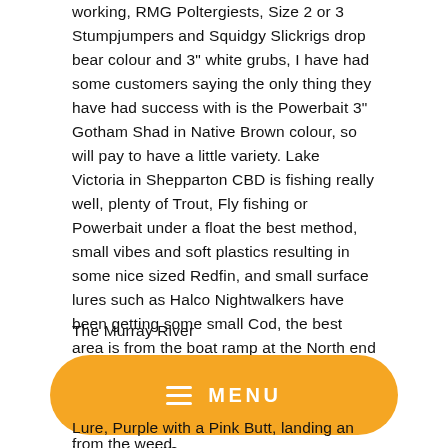working, RMG Poltergiests, Size 2 or 3 Stumpjumpers and Squidgy Slickrigs drop bear colour and 3" white grubs, I have had some customers saying the only thing they have had success with is the Powerbait 3" Gotham Shad in Native Brown colour, so will pay to have a little variety. Lake Victoria in Shepparton CBD is fishing really well, plenty of Trout, Fly fishing or Powerbait under a float the best method, small vibes and soft plastics resulting in some nice sized Redfin, and small surface lures such as Halco Nightwalkers have been getting some small Cod, the best area is from the boat ramp at the North end of the lake, all the way along the Western side to the other ramp, If you have a Kayak, stick to the middle and get away from the weed.
The Murray River
[Figure (other): Orange rounded rectangle menu button with hamburger icon and MENU text]
Lure, Purple with a Pink Butt, landing an impressive 112cm